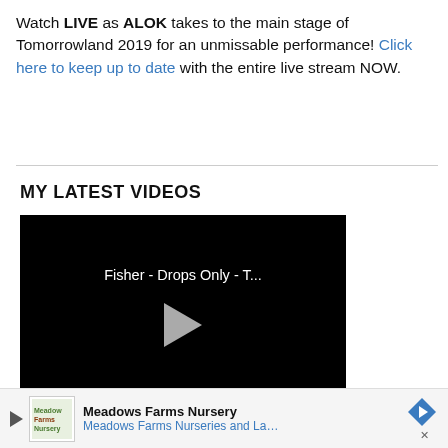Watch LIVE as ALOK takes to the main stage of Tomorrowland 2019 for an unmissable performance! Click here to keep up to date with the entire live stream NOW.
MY LATEST VIDEOS
[Figure (screenshot): Video player showing 'Fisher - Drops Only - T...' with a play button on a black background]
[Figure (infographic): Advertisement banner for Meadows Farms Nursery with logo, text 'Meadows Farms Nurseries and Landsca...' and a blue diamond arrow icon]